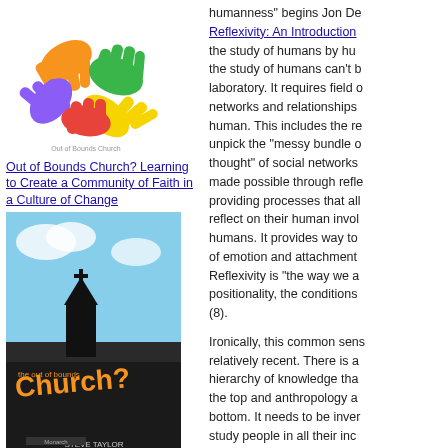[Figure (illustration): Colorful book cover with overlapping hands in orange, green, purple, yellow on white background]
Out of Bounds Church? Learning to Create a Community of Faith in a Culture of Change
[Figure (illustration): Book cover showing church tower image with title 'the out of bounds Church?' by Steve Taylor, teal/sky blue background]
MY WORDS: JOURNAL ARTICLES IN ...
Mission Studies 36(3), (2019); Sites 16(1), (2019); Persuasions On-Line 38(3), (2018); Australian Journal of Mission Studies 11(2), (2017); MC Journal 15(1), (2015); Pacifica 27(2), (2014); Colloquium 39(2), (2007); International Journal Study of Christian Church 6(1), (2006); Contact 142 (1) (2003); New Zealand Journal of Baptist Research 6, (2001); 2, (1998).
MY WORDS: CHAPTERS IN ...
humanness" begins Jon De
Reflexivity: An Introduction
the study of humans by hu
the study of humans can't b
laboratory. It requires field o
networks and relationships
human. This includes the re
unpick the “messy bundle o
thought” of social networks
made possible through refle
providing processes that all
reflect on their human invol
humans. It provides way to
of emotion and attachment
Reflexivity is “the way we a
positionality, the conditions
(8).
Ironically, this common sens
relatively recent. There is a
hierarchy of knowledge tha
the top and anthropology a
bottom. It needs to be inver
study people in all their inc